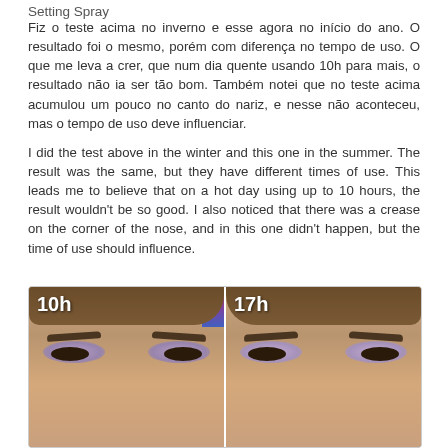Setting Spray
Fiz o teste acima no inverno e esse agora no início do ano. O resultado foi o mesmo, porém com diferença no tempo de uso. O que me leva a crer, que num dia quente usando 10h para mais, o resultado não ia ser tão bom. Também notei que no teste acima acumulou um pouco no canto do nariz, e nesse não aconteceu, mas o tempo de uso deve influenciar.
I did the test above in the winter and this one in the summer. The result was the same, but they have different times of use. This leads me to believe that on a hot day using up to 10 hours, the result wouldn't be so good. I also noticed that there was a crease on the corner of the nose, and in this one didn't happen, but the time of use should influence.
[Figure (photo): Side-by-side comparison photo of a woman wearing purple eye makeup. Left panel labeled '10h', right panel labeled '17h', showing the makeup at different hours of wear.]